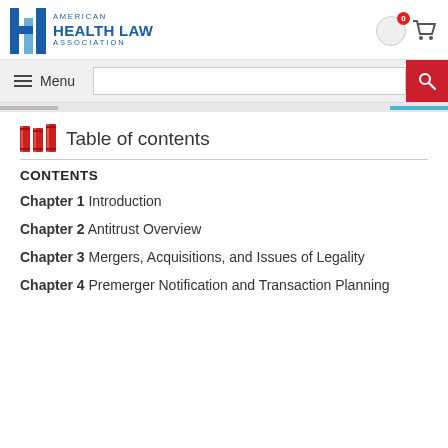AMERICAN HEALTH LAW ASSOCIATION
Table of contents
CONTENTS
Chapter 1  Introduction
Chapter 2  Antitrust Overview
Chapter 3  Mergers, Acquisitions, and Issues of Legality
Chapter 4  Premerger Notification and Transaction Planning